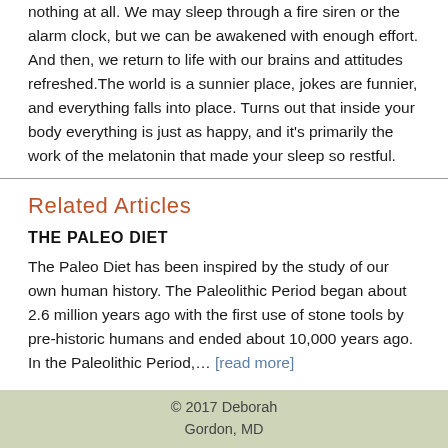nothing at all. We may sleep through a fire siren or the alarm clock, but we can be awakened with enough effort. And then, we return to life with our brains and attitudes refreshed. The world is a sunnier place, jokes are funnier, and everything falls into place. Turns out that inside your body everything is just as happy, and it's primarily the work of the melatonin that made your sleep so restful.
Related Articles
THE PALEO DIET
The Paleo Diet has been inspired by the study of our own human history. The Paleolithic Period began about 2.6 million years ago with the first use of stone tools by pre-historic humans and ended about 10,000 years ago. In the Paleolithic Period,… [read more]
© 2017 Deborah Gordon, MD